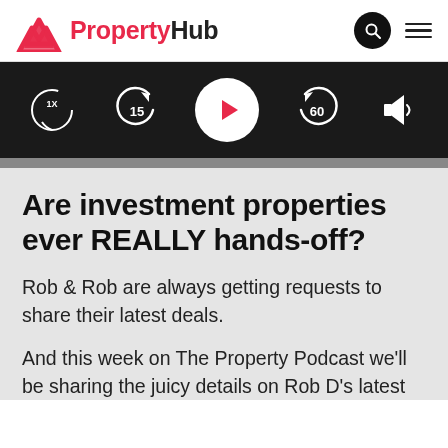PropertyHub
[Figure (screenshot): Podcast player controls bar showing: 1x speed, rewind 15s, play button (red triangle in white circle), skip forward 60s, and volume icon, all on black background]
Are investment properties ever REALLY hands-off?
Rob & Rob are always getting requests to share their latest deals.
And this week on The Property Podcast we'll be sharing the juicy details on Rob D's latest